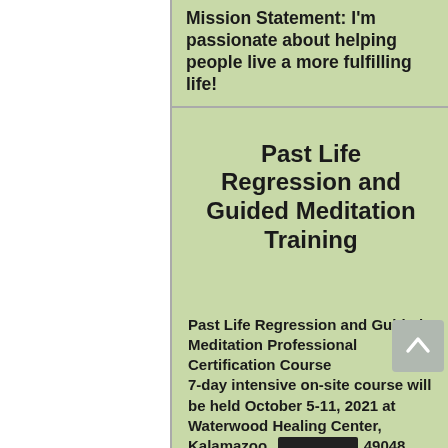Mission Statement: I'm passionate about helping people live a more fulfilling life!
Past Life Regression and Guided Meditation Training
Past Life Regression and Guided Meditation Professional Certification Course 7-day intensive on-site course will be held October 5-11, 2021 at Waterwood Healing Center, Kalamazoo, [REDACTED] 49048